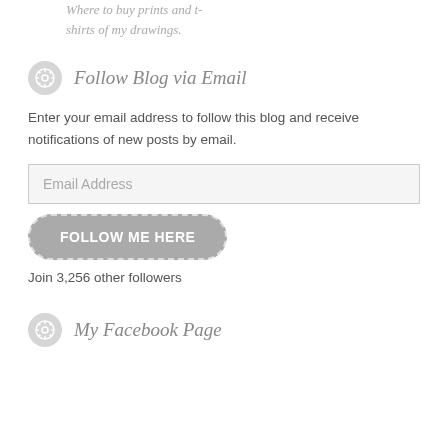Where to buy prints and t-shirts of my drawings.
Follow Blog via Email
Enter your email address to follow this blog and receive notifications of new posts by email.
Email Address
FOLLOW ME HERE
Join 3,256 other followers
My Facebook Page